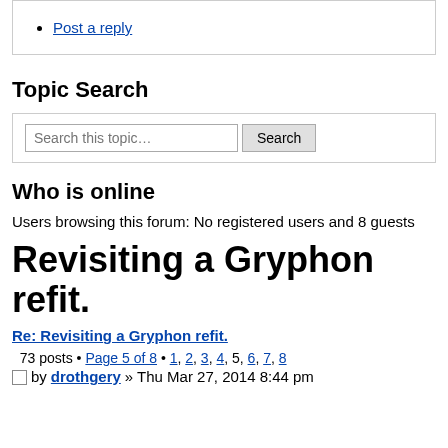Post a reply
Topic Search
Search this topic… Search
Who is online
Users browsing this forum: No registered users and 8 guests
Revisiting a Gryphon refit.
Re: Revisiting a Gryphon refit.  73 posts • Page 5 of 8 • 1, 2, 3, 4, 5, 6, 7, 8
by drothgery » Thu Mar 27, 2014 8:44 pm